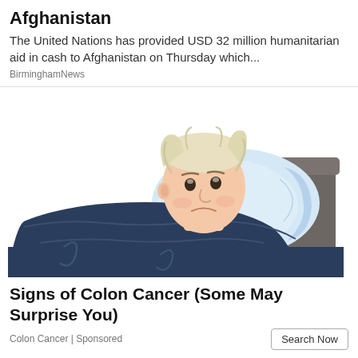Afghanistan
The United Nations has provided USD 32 million humanitarian aid in cash to Afghanistan on Thursday which...
BirminghamNews
[Figure (illustration): Illustration of a sad man with blonde hair lying in a dark blue bed with a light blue pillow, depicted in a cartoon/vector style against a white background.]
Signs of Colon Cancer (Some May Surprise You)
Colon Cancer | Sponsored